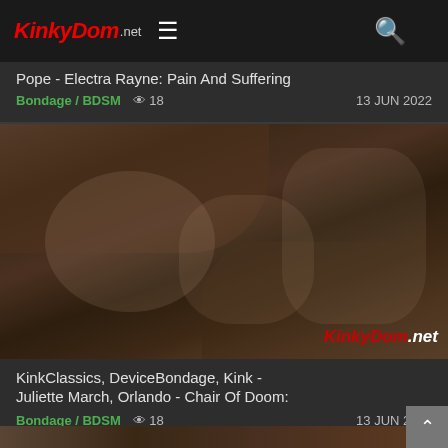KinkyDom.net
Pope - Electra Rayne: Pain And Suffering
Bondage / BDSM   👁 18   13 JUN 2022
[Figure (photo): Adult content photo with KinkyDom.net watermark]
KinkClassics, DeviceBondage, Kink -

Juliette March, Orlando - Chair Of Doom:
Bondage / BDSM   👁 18   13 JUN 2022